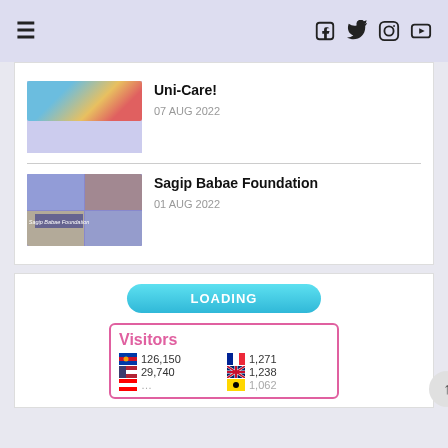≡  f  twitter  instagram  youtube
Uni-Care!
07 AUG 2022
[Figure (photo): Thumbnail image for Sagip Babae Foundation article showing collage of people and events with purple background and 'Sagip Babae Foundation' text overlay]
Sagip Babae Foundation
01 AUG 2022
[Figure (infographic): Visitors counter widget showing flags and visitor counts: Philippines 126,150; France 1,271; USA 29,740; GB 1,238; and more rows partially visible]
Visitors
126,150  1,271
29,740  1,238